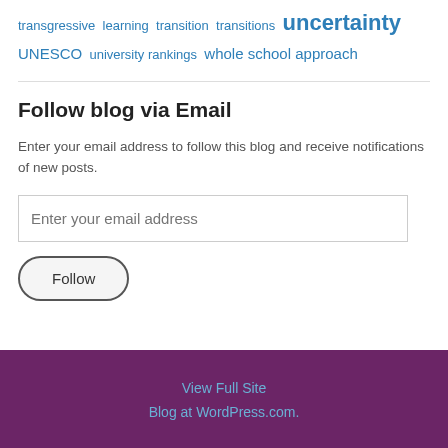transgressive learning transition transitions uncertainty UNESCO university rankings whole school approach
Follow blog via Email
Enter your email address to follow this blog and receive notifications of new posts.
Enter your email address
Follow
View Full Site
Blog at WordPress.com.